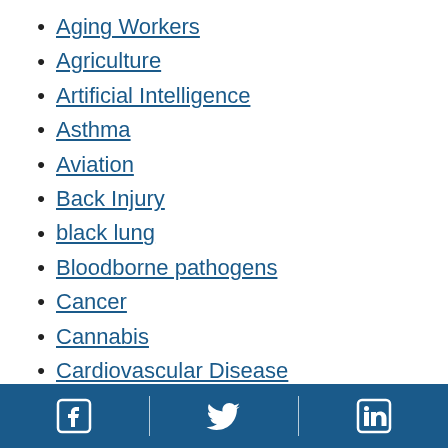Aging Workers
Agriculture
Artificial Intelligence
Asthma
Aviation
Back Injury
black lung
Bloodborne pathogens
Cancer
Cannabis
Cardiovascular Disease
Chemicals
Social media links: Facebook, Twitter, LinkedIn